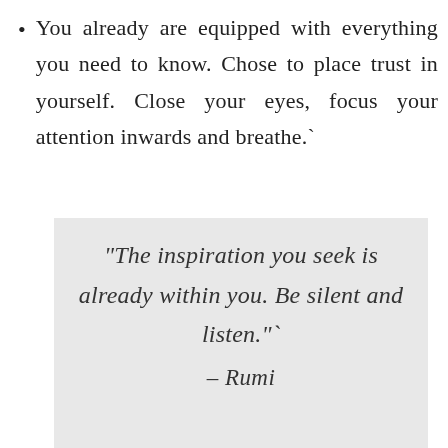You already are equipped with everything you need to know. Chose to place trust in yourself. Close your eyes, focus your attention inwards and breathe.`
“The inspiration you seek is already within you. Be silent and listen.”` – Rumi